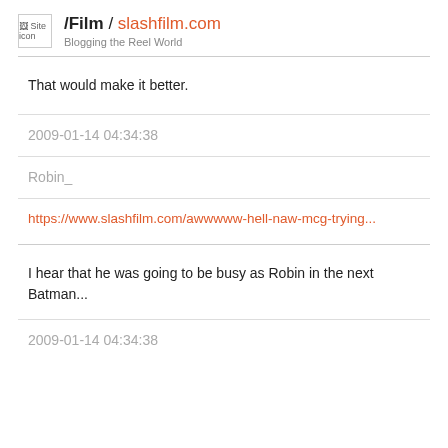/Film / slashfilm.com — Blogging the Reel World
That would make it better.
2009-01-14 04:34:38
Robin_
https://www.slashfilm.com/awwwww-hell-naw-mcg-trying...
I hear that he was going to be busy as Robin in the next Batman...
2009-01-14 04:34:38